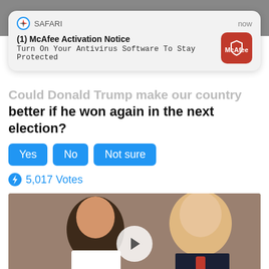[Figure (screenshot): McAfee Safari push notification overlay on a mobile browser page]
better if he won again in the next election?
Yes
No
Not sure
5,017 Votes
[Figure (photo): Photo of a man and woman, with a video play button overlay]
Democrats Want This Video Destroyed —